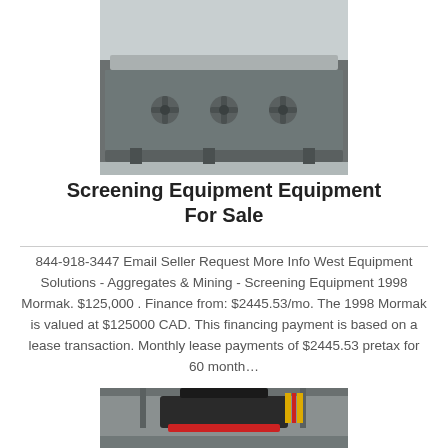[Figure (photo): Photo of industrial screening equipment, gray metal machine with bolt-on cross-shaped mounting hardware visible on the side panel, industrial factory background]
Screening Equipment Equipment For Sale
844-918-3447 Email Seller Request More Info West Equipment Solutions - Aggregates & Mining - Screening Equipment 1998 Mormak. $125,000 . Finance from: $2445.53/mo. The 1998 Mormak is valued at $125000 CAD. This financing payment is based on a lease transaction. Monthly lease payments of $2445.53 pretax for 60 month…
[Figure (photo): Photo of industrial cone crusher or similar heavy mining equipment, black and red machinery in a factory warehouse setting]